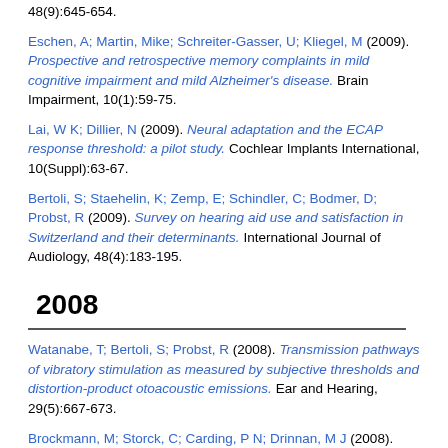48(9):645-654.
Eschen, A; Martin, Mike; Schreiter-Gasser, U; Kliegel, M (2009). Prospective and retrospective memory complaints in mild cognitive impairment and mild Alzheimer's disease. Brain Impairment, 10(1):59-75.
Lai, W K; Dillier, N (2009). Neural adaptation and the ECAP response threshold: a pilot study. Cochlear Implants International, 10(Suppl):63-67.
Bertoli, S; Staehelin, K; Zemp, E; Schindler, C; Bodmer, D; Probst, R (2009). Survey on hearing aid use and satisfaction in Switzerland and their determinants. International Journal of Audiology, 48(4):183-195.
2008
Watanabe, T; Bertoli, S; Probst, R (2008). Transmission pathways of vibratory stimulation as measured by subjective thresholds and distortion-product otoacoustic emissions. Ear and Hearing, 29(5):667-673.
Brockmann, M; Storck, C; Carding, P N; Drinnan, M J (2008). Voice loudness and gender effects on jitter and shimmer in